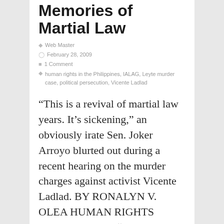Memories of Martial Law
Web Master
February 28, 2009
1 Comment
human rights in the Philippines, IALAG, Leyte murder case, political persecution, Vicente Ladlad
“This is a revival of martial law years. It’s sickening,” an obviously irate Sen. Joker Arroyo blurted out during a recent hearing on the murder charges against activist Vicente Ladlad. BY RONALYN V. OLEA HUMAN RIGHTS WATCH Bulatlat “This is a